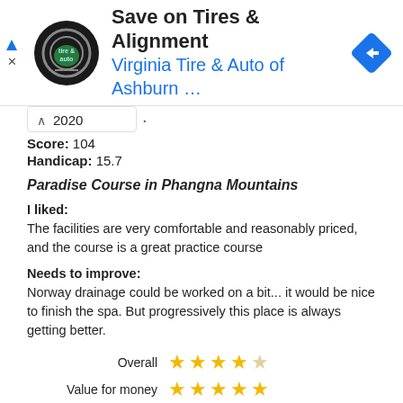[Figure (screenshot): Advertisement banner for Save on Tires & Alignment - Virginia Tire & Auto of Ashburn with logo and navigation arrow icon]
2020
Score: 104
Handicap: 15.7
Paradise Course in Phangna Mountains
I liked:
The facilities are very comfortable and reasonably priced, and the course is a great practice course
Needs to improve:
Norway drainage could be worked on a bit... it would be nice to finish the spa. But progressively this place is always getting better.
| Category | Rating |
| --- | --- |
| Overall | 4/5 stars |
| Value for money | 5/5 stars |
| Conditions | 4/5 stars |